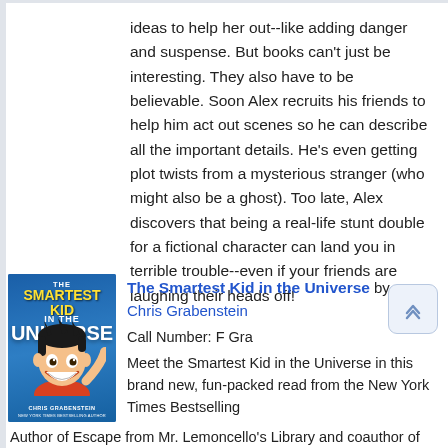ideas to help her out--like adding danger and suspense. But books can't just be interesting. They also have to be believable. Soon Alex recruits his friends to help him act out scenes so he can describe all the important details. He's even getting plot twists from a mysterious stranger (who might also be a ghost). Too late, Alex discovers that being a real-life stunt double for a fictional character can land you in terrible trouble--even if your friends are laughing their heads off!
[Figure (illustration): Book cover of 'The Smartest Kid in the Universe' by Chris Grabenstein showing a cartoon kid with dark hair and a big grin on a blue background]
The Smartest Kid in the Universe by Chris Grabenstein
Call Number: F Gra
Meet the Smartest Kid in the Universe in this brand new, fun-packed read from the New York Times Bestselling Author of Escape from Mr. Lemoncello's Library and coauthor of Max Einstein! "Chris Grabenstein just